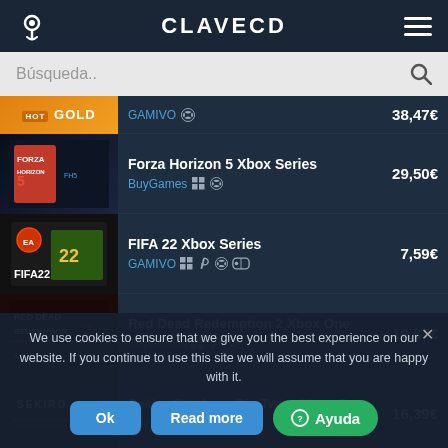CLAVECD
Búsqueda..
GOLD — GAMIVO — 38,47€
Forza Horizon 5 Xbox Series — BuyGames — 29,50€
FIFA 22 Xbox Series — GAMIVO — 7,59€
Red Dead Redemption 2 Xbox One — BuyGames — 19,67€
Sekiro Shadows Die Twice Xbox O... — BuyGames — 16,39€
FAR CRY 6 Xbox One
We use cookies to ensure that we give you the best experience on our website. If you continue to use this site we will assume that you are happy with it.
Ok   Read more   Ayuda